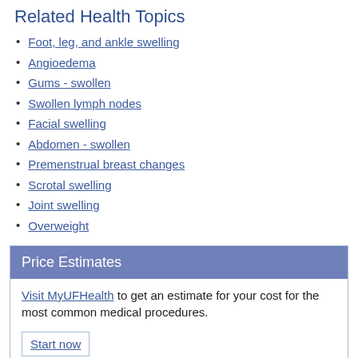Related Health Topics
Foot, leg, and ankle swelling
Angioedema
Gums - swollen
Swollen lymph nodes
Facial swelling
Abdomen - swollen
Premenstrual breast changes
Scrotal swelling
Joint swelling
Overweight
Price Estimates
Visit MyUFHealth to get an estimate for your cost for the most common medical procedures.
Start now
Related Services